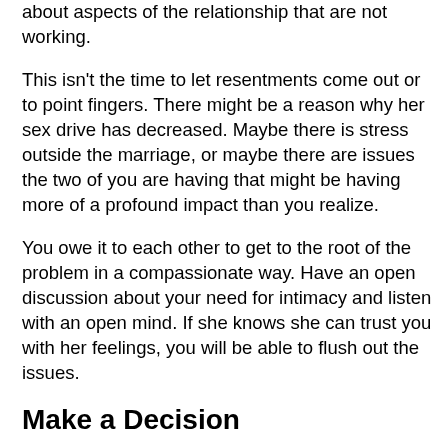about aspects of the relationship that are not working.
This isn't the time to let resentments come out or to point fingers. There might be a reason why her sex drive has decreased. Maybe there is stress outside the marriage, or maybe there are issues the two of you are having that might be having more of a profound impact than you realize.
You owe it to each other to get to the root of the problem in a compassionate way. Have an open discussion about your need for intimacy and listen with an open mind. If she knows she can trust you with her feelings, you will be able to flush out the issues.
Make a Decision